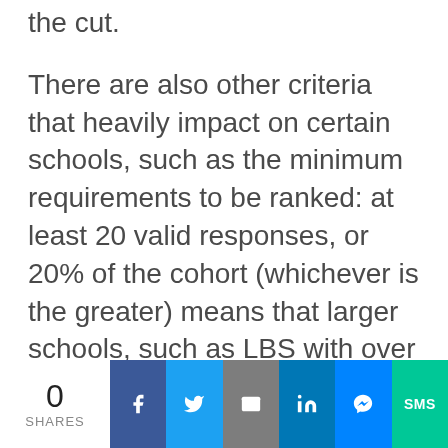the cut.
There are also other criteria that heavily impact on certain schools, such as the minimum requirements to be ranked: at least 20 valid responses, or 20% of the cohort (whichever is the greater) means that larger schools, such as LBS with over 300 student intake back in 2006, would be able to fare much better than smaller schools who only have a pool of 50 from which to rely on responding to the FT survey.
0 SHARES | Facebook | Twitter | Email | LinkedIn | Messenger | SMS